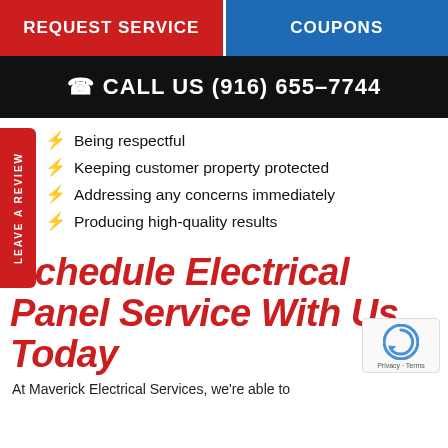REQUEST SERVICE | COUPONS
CALL US (916) 655-7744
Being respectful
Keeping customer property protected
Addressing any concerns immediately
Producing high-quality results
Schedule Electrical Panel Service With Us Today
At Maverick Electrical Services, we're able to